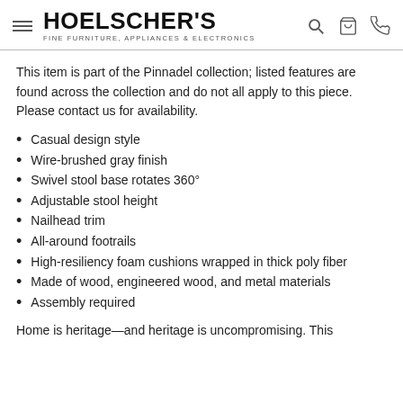HOELSCHER'S FINE FURNITURE, APPLIANCES & ELECTRONICS
This item is part of the Pinnadel collection; listed features are found across the collection and do not all apply to this piece. Please contact us for availability.
Casual design style
Wire-brushed gray finish
Swivel stool base rotates 360°
Adjustable stool height
Nailhead trim
All-around footrails
High-resiliency foam cushions wrapped in thick poly fiber
Made of wood, engineered wood, and metal materials
Assembly required
Home is heritage—and heritage is uncompromising. This